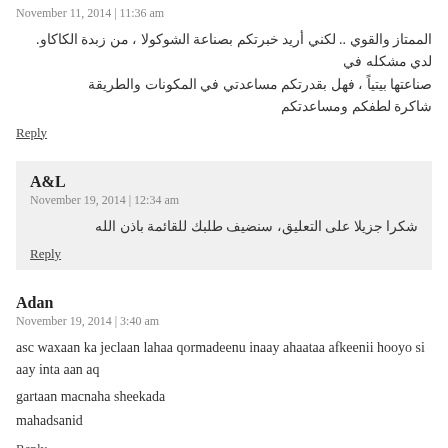الممتاز والقوي .. لكني أريد خبرتكم بصناعة الشوكولا ، من زبدة الكاكاو. لدي مشكله في صناعتها بيتياً ، فهل بقدرتكم مساعدتي في المكونات والطريقة شاكرة لطفكم ومساعدتكم
Reply
A&L
November 19, 2014 | 12:34 am
شكرا جزيلا على التعليق، سنضيف طلبك للقائمة باذن الله
Reply
Adan
November 19, 2014 | 3:40 am
asc waxaan ka jeclaan lahaa qormadeenu inaay ahaataa afkeenii hooyo si aay inta aan aq gartaan macnaha sheekada mahadsanid
Reply
A&L